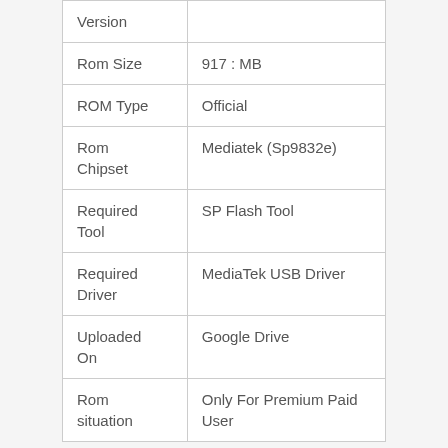| Field | Value |
| --- | --- |
| Version |  |
| Rom Size | 917 : MB |
| ROM Type | Official |
| Rom Chipset | Mediatek (Sp9832e) |
| Required Tool | SP Flash Tool |
| Required Driver | MediaTek USB Driver |
| Uploaded On | Google Drive |
| Rom situation | Only For Premium Paid User |